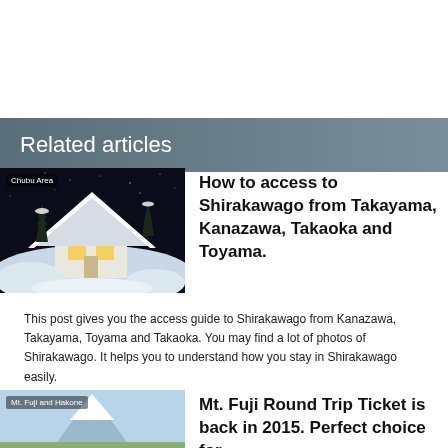Related articles
[Figure (photo): Night photo of a traditional gassho-zukuri farmhouse in Shirakawago covered in heavy snow, with trees and dark sky in background. Tag reads 'Chubu Area'.]
How to access to Shirakawago from Takayama, Kanazawa, Takaoka and Toyama.
This post gives you the access guide to Shirakawago from Kanazawa, Takayama, Toyama and Takaoka. You may find a lot of photos of Shirakawago. It helps you to understand how you stay in Shirakawago easily.
[Figure (photo): Photo of Mt. Fuji with snow and a blue sky. Tag reads 'Mt. Fuji and Hakone'.]
Mt. Fuji Round Trip Ticket is back in 2015. Perfect choice for